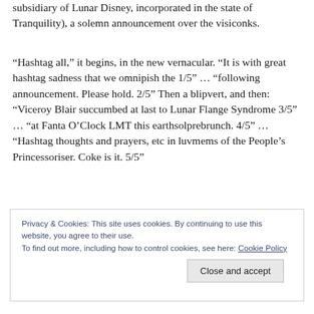subsidiary of Lunar Disney, incorporated in the state of Tranquility), a solemn announcement over the visiconks.
“Hashtag all,” it begins, in the new vernacular. “It is with great hashtag sadness that we omnipish the 1/5” … “following announcement. Please hold. 2/5” Then a blipvert, and then: “Viceroy Blair succumbed at last to Lunar Flange Syndrome 3/5” … “at Fanta O’Clock LMT this earthsolprebrunch. 4/5” … “Hashtag thoughts and prayers, etc in luvmems of the People’s Princessoriser. Coke is it. 5/5”
Privacy & Cookies: This site uses cookies. By continuing to use this website, you agree to their use.
To find out more, including how to control cookies, see here: Cookie Policy
Close and accept